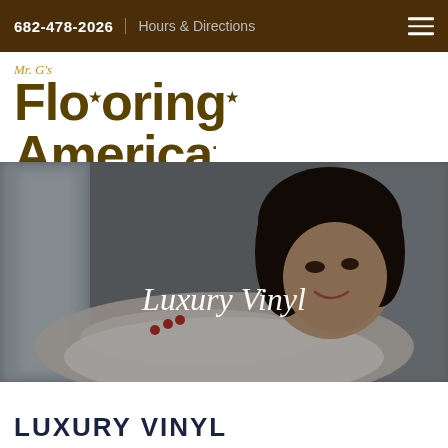682-478-2026   Hours & Directions
Mr. G's FlooringAmerica.
[Figure (photo): Woman with dark hair smiling, resting her chin on her crossed arms, overlaid with text 'Luxury Vinyl' in white italic font. Background is blurred interior scene.]
LUXURY VINYL